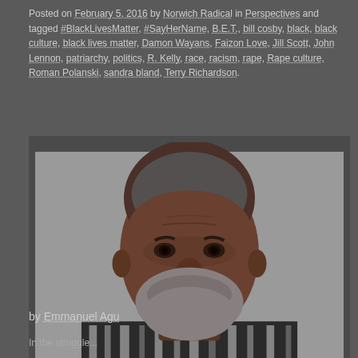Posted on February 5, 2016 by Norwich Radical in Perspectives and tagged #BlackLivesMatter, #SayHerName, B.E.T., bill cosby, black, black culture, black lives matter, Damon Wayans, Faizon Love, Jill Scott, John Lennon, patriarchy, politics, R. Kelly, race, racism, rape, Rape culture, Roman Polanski, sandra bland, Terry Richardson.
[Figure (photo): Mugshot-style photograph of an elderly Black man with a grey beard and short grey hair, wearing a black and white patterned sweater, against a grey background.]
by Emmanuel Agu
In the struggle...